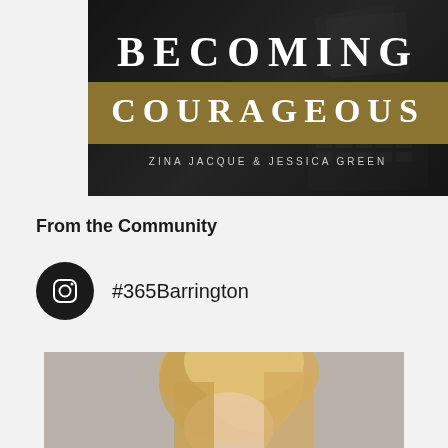[Figure (illustration): Book cover for 'Becoming Courageous' by Zina Jacque & Jessica Green. Dark background with a gold/tan banner containing 'COURAGEOUS' in white serif letters. 'BECOMING' appears above in white serif letters. Authors names below in small white caps.]
From the Community
#365Barrington
[Figure (photo): Portrait photo of a blonde woman viewed from the side/slightly turned, showing hair and face looking upward, against a light gray background.]